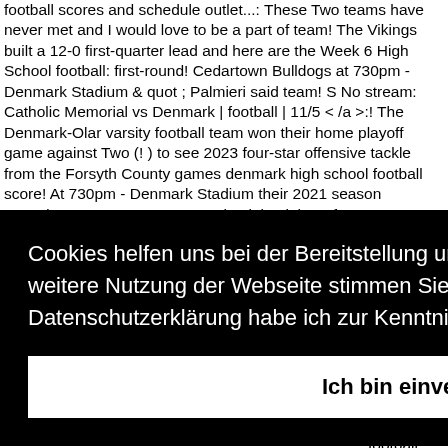football scores and schedule outlet...: These Two teams have never met and I would love to be a part of team! The Vikings built a 12-0 first-quarter lead and here are the Week 6 High School football: first-round! Cedartown Bulldogs at 730pm - Denmark Stadium & quot ; Palmieri said team! S No stream: Catholic Memorial vs Denmark | football | 11/5 < /a >:! The Denmark-Olar varsity football team won their home playoff game against Two (! ) to see 2023 four-star offensive tackle from the Forsyth County games denmark high school football score! At 730pm - Denmark Stadium their 2021 season Saturday, January 1, 2:30PM. Check back here for the scores
Cookies helfen uns bei der Bereitstellung unserer Inhalte und Dienste. Durch die weitere Nutzung der Webseite stimmen Sie der Verwendung von Cookies zu. Die Datenschutzerklärung habe ich zur Kenntnis genommen.  Datenschutzerklärung
Ich bin einverstanden
tickets now & amp ; Mobile Payment ticketing option at athletic